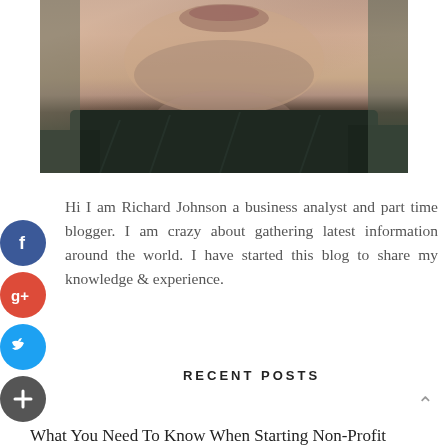[Figure (photo): Close-up photo of a man's face (lower half) and neck, wearing a dark plaid shirt, with stubble]
Hi I am Richard Johnson a business analyst and part time blogger. I am crazy about gathering latest information around the world. I have started this blog to share my knowledge & experience.
RECENT POSTS
What You Need To Know When Starting Non-Profit